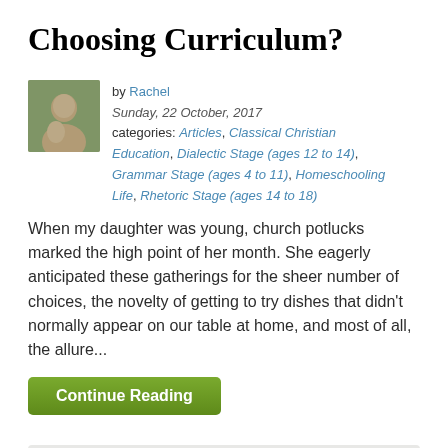Choosing Curriculum?
by Rachel
Sunday, 22 October, 2017
categories: Articles, Classical Christian Education, Dialectic Stage (ages 12 to 14), Grammar Stage (ages 4 to 11), Homeschooling Life, Rhetoric Stage (ages 14 to 18)
When my daughter was young, church potlucks marked the high point of her month. She eagerly anticipated these gatherings for the sheer number of choices, the novelty of getting to try dishes that didn’t normally appear on our table at home, and most of all, the allure...
Continue Reading
1  2  3  4  5  •  >  >>